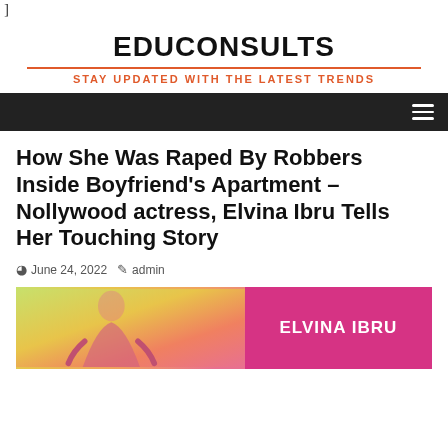]
EDUCONSULTS
STAY UPDATED WITH THE LATEST TRENDS
How She Was Raped By Robbers Inside Boyfriend's Apartment – Nollywood actress, Elvina Ibru Tells Her Touching Story
June 24, 2022  admin
[Figure (photo): Left half shows a woman in colorful pink and yellow/green clothing outdoors. Right half shows a pink/magenta background with white bold text 'ELVINA IBRU'.]